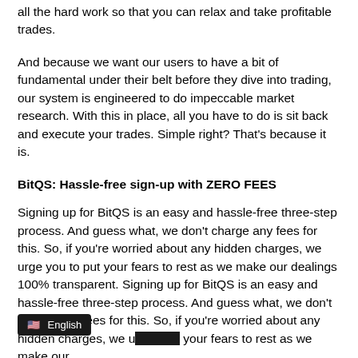all the hard work so that you can relax and take profitable trades.
And because we want our users to have a bit of fundamental under their belt before they dive into trading, our system is engineered to do impeccable market research. With this in place, all you have to do is sit back and execute your trades. Simple right? That’s because it is.
BitQS: Hassle-free sign-up with ZERO FEES
Signing up for BitQS is an easy and hassle-free three-step process. And guess what, we don’t charge any fees for this. So, if you’re worried about any hidden charges, we urge you to put your fears to rest as we make our dealings 100% transparent. Signing up for BitQS is an easy and hassle-free three-step process. And guess what, we don’t charge any fees for this. So, if you’re worried about any hidden charges, we urge you to put your fears to rest as we make our